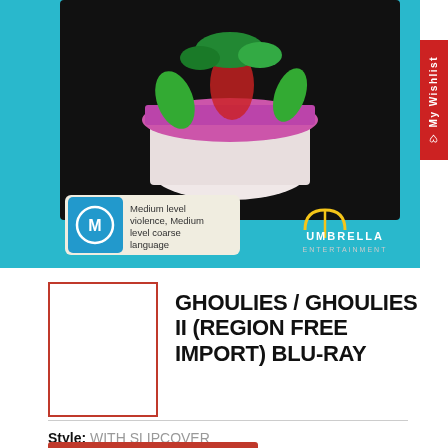[Figure (photo): Product image of Ghoulies / Ghoulies II Blu-ray with Umbrella Entertainment branding on cyan/teal background. Shows a creature emerging from a toilet with purple lid. Rating sticker shows M rating: Medium level violence, Medium level coarse language.]
[Figure (photo): Small thumbnail image of the product, outlined with a red border, currently blank/white]
GHOULIES / GHOULIES II (REGION FREE IMPORT) BLU-RAY
Style: WITH SLIPCOVER